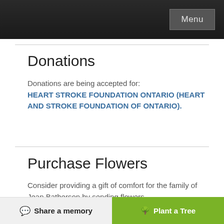Menu
Donations
Donations are being accepted for: HEART STROKE FOUNDATION ONTARIO (HEART AND STROKE FOUNDATION OF ONTARIO).
Purchase Flowers
Consider providing a gift of comfort for the family of Jean Batherson by sending flowers.
Purchase Flowers
Share a memory | Plant a Tree